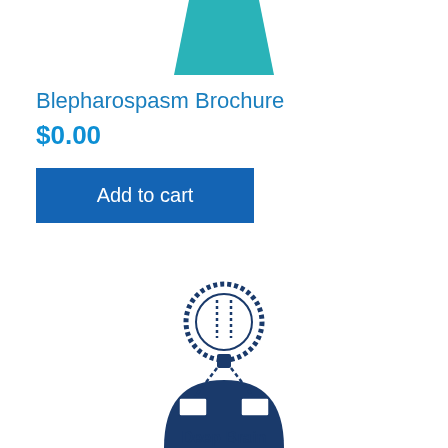[Figure (illustration): Teal/turquoise trapezoid or document icon at the top center of the page, partially cropped]
Blepharospasm Brochure
$0.00
[Figure (other): Blue 'Add to cart' button]
[Figure (illustration): Deep Brain Stimulation icon: a dark navy blue figure of a person with a circular head showing dotted brain stimulation leads, and leads running to a device implanted in the chest area. Text 'Deep Brain' visible at bottom, partially cropped.]